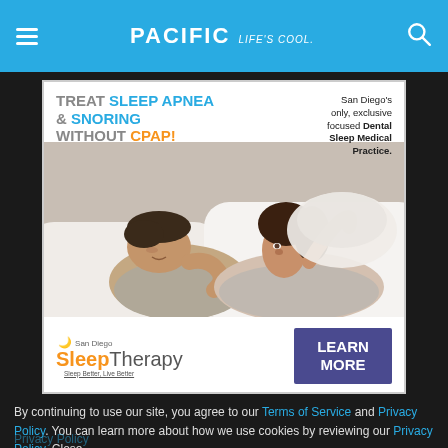PACIFIC Life's cool.
[Figure (advertisement): San Diego Sleep Therapy advertisement. Headline: TREAT SLEEP APNEA & SNORING WITHOUT CPAP! Right side text: San Diego's only, exclusive focused Dental Sleep Medical Practice. Photo of man sleeping and woman covering ears with pillow. Brand logo: San Diego SleepTherapy Sleep Better, Live Better. Button: LEARN MORE.]
By continuing to use our site, you agree to our Terms of Service and Privacy Policy. You can learn more about how we use cookies by reviewing our Privacy Policy. Close
Privacy Policy